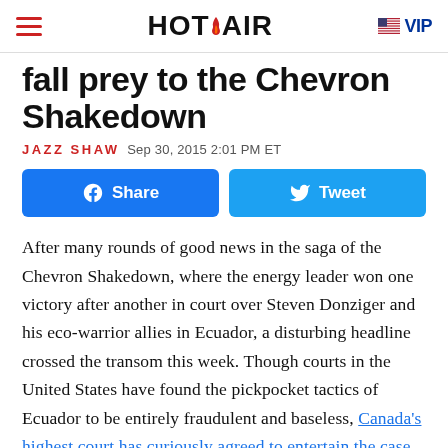HOT AIR | VIP
fall prey to the Chevron Shakedown
JAZZ SHAW  Sep 30, 2015 2:01 PM ET
[Figure (other): Facebook Share button and Twitter Tweet button]
After many rounds of good news in the saga of the Chevron Shakedown, where the energy leader won one victory after another in court over Steven Donziger and his eco-warrior allies in Ecuador, a disturbing headline crossed the transom this week. Though courts in the United States have found the pickpocket tactics of Ecuador to be entirely fraudulent and baseless, Canada's highest court has curiously agreed to entertain the case in their country. (Financial Post)